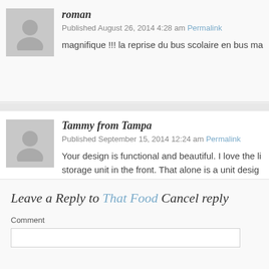roman
Published August 26, 2014 4:28 am Permalink
magnifique !!! la reprise du bus scolaire en bus ma
Tammy from Tampa
Published September 15, 2014 12:24 am Permalink
Your design is functional and beautiful. I love the li storage unit in the front. That alone is a unit desig

BRAVO!
Leave a Reply to That Food Cancel reply
Comment